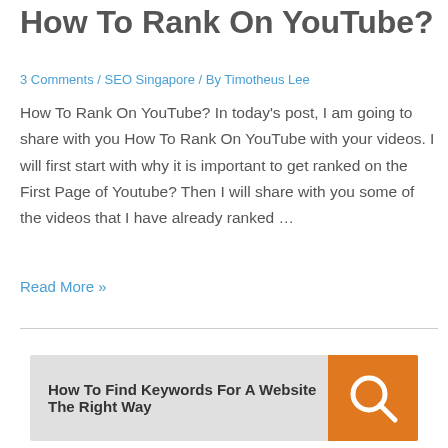How To Rank On YouTube?
3 Comments / SEO Singapore / By Timotheus Lee
How To Rank On YouTube? In today's post, I am going to share with you How To Rank On YouTube with your videos. I will first start with why it is important to get ranked on the First Page of Youtube? Then I will share with you some of the videos that I have already ranked …
Read More »
[Figure (infographic): A card banner reading 'How To Find Keywords For A Website The Right Way' with an orange search icon on the right side.]